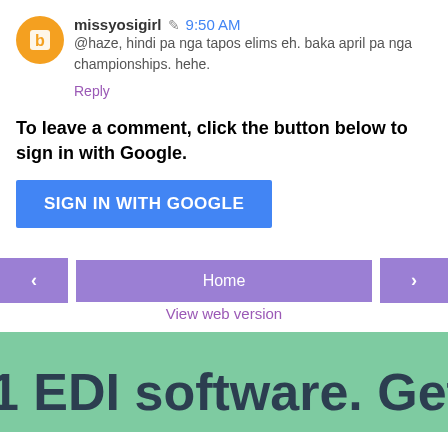missyosigirl  9:50 AM
@haze, hindi pa nga tapos elims eh. baka april pa nga championships. hehe.
Reply
To leave a comment, click the button below to sign in with Google.
SIGN IN WITH GOOGLE
< Home >
View web version
1 EDI software. Get starte